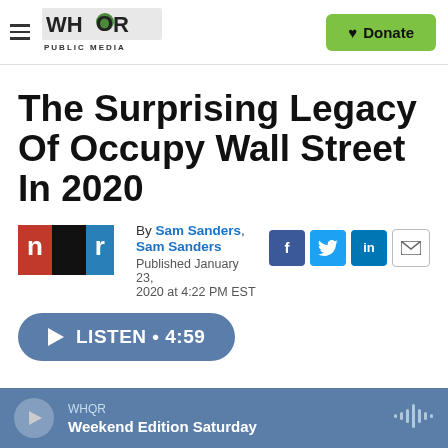WHQR PUBLIC MEDIA | Donate
The Surprising Legacy Of Occupy Wall Street In 2020
By Sam Sanders, Sam Sanders
Published January 23, 2020 at 4:22 PM EST
LISTEN • 4:59
WHQR Weekend Edition Saturday